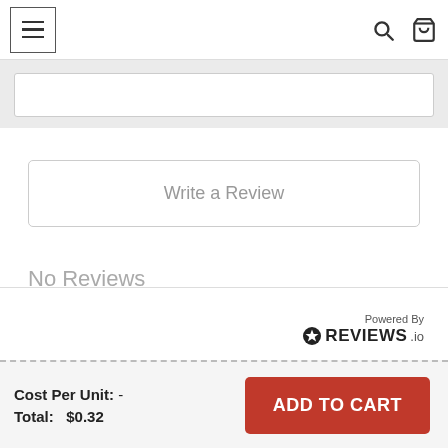≡  🔍  🛒
Write a Review
No Reviews
Powered By REVIEWS.io
Cost Per Unit:  -
Total:  $0.32
ADD TO CART